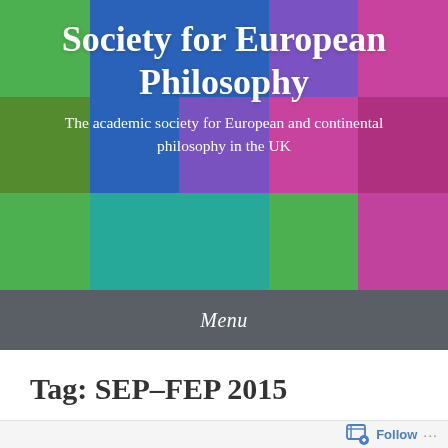Society for European Philosophy
The academic society for European and continental philosophy in the UK
Menu
Tag: SEP-FEP 2015
Follow ...